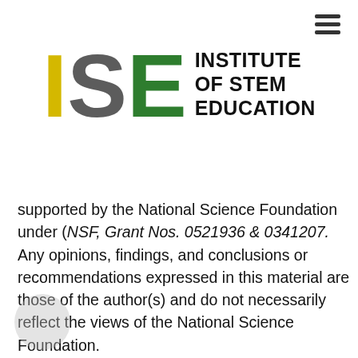[Figure (logo): ISE - Institute of STEM Education logo. 'I' in yellow, 'S' in gray, 'E' in green, followed by bold text 'INSTITUTE OF STEM EDUCATION']
supported by the National Science Foundation under (NSF, Grant Nos. 0521936 & 0341207. Any opinions, findings, and conclusions or recommendations expressed in this material are those of the author(s) and do not necessarily reflect the views of the National Science Foundation.